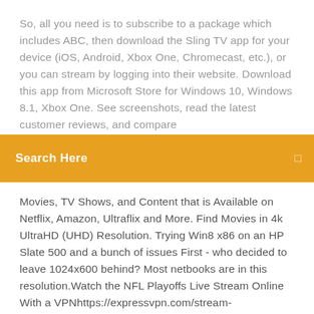So, all you need is to subscribe to a package which includes ABC, then download the Sling TV app for your device (iOS, Android, Xbox One, Chromecast, etc.), or you can stream by logging into their website. Download this app from Microsoft Store for Windows 10, Windows 8.1, Xbox One. See screenshots, read the latest customer reviews, and compare
[Figure (screenshot): Orange search bar with white text 'Search Here' and a small search icon on the right]
Movies, TV Shows, and Content that is Available on Netflix, Amazon, Ultraflix and More. Find Movies in 4k UltraHD (UHD) Resolution. Trying Win8 x86 on an HP Slate 500 and a bunch of issues First - who decided to leave 1024x600 behind? Most netbooks are in this resolution.Watch the NFL Playoffs Live Stream Online With a VPNhttps://expressvpn.com/stream-sports/nflLearn how to stream NFL playoffs securely and watch live football games online with ExpressVPN. Get set up in under five minutes.